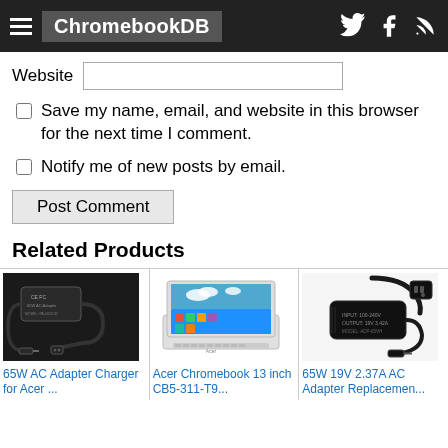ChromebookDB
Website
Save my name, email, and website in this browser for the next time I comment.
Notify me of new posts by email.
Post Comment
Related Products
[Figure (photo): 65W AC Adapter Charger for Acer - black AC adapter with cables]
65W AC Adapter Charger for Acer ...
[Figure (photo): Acer Chromebook 13 inch CB5-311-T9 - white laptop with colorful screen]
Acer Chromebook 13 inch CB5-311-T9...
[Figure (photo): 65W 19V 2.37A AC Adapter Replacement - black AC adapter with cable and plug]
65W 19V 2.37A AC Adapter Replacemen...